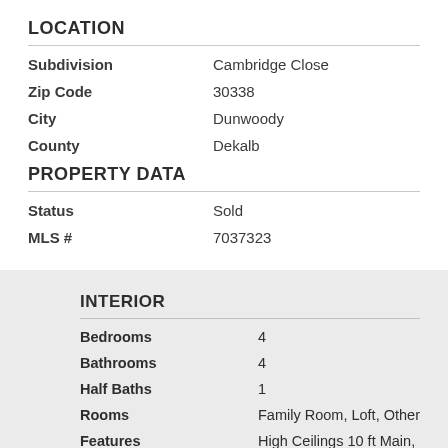LOCATION
| Field | Value |
| --- | --- |
| Subdivision | Cambridge Close |
| Zip Code | 30338 |
| City | Dunwoody |
| County | Dekalb |
PROPERTY DATA
| Field | Value |
| --- | --- |
| Status | Sold |
| MLS # | 7037323 |
INTERIOR
| Field | Value |
| --- | --- |
| Bedrooms | 4 |
| Bathrooms | 4 |
| Half Baths | 1 |
| Rooms | Family Room, Loft, Other |
| Features | High Ceilings 10 ft Main, High |